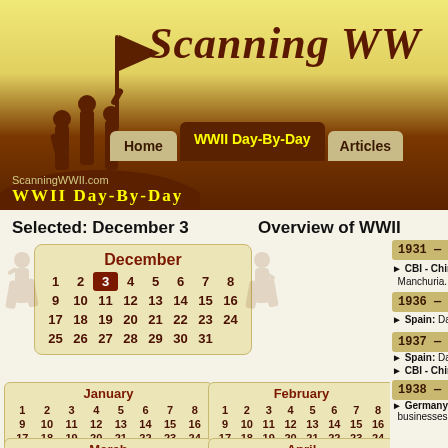Scanning WWII - WWII Day-By-Day website header
SCANNING WW
ScanningWWII.com
WWII Day-By-Day
Selected: December 3
Overview of WWII
| December |
| --- |
| 1 | 2 | 3 | 4 | 5 | 6 | 7 | 8 |
| 9 | 10 | 11 | 12 | 13 | 14 | 15 | 16 |
| 17 | 18 | 19 | 20 | 21 | 22 | 23 | 24 |
| 25 | 26 | 27 | 28 | 29 | 30 | 31 |  |
| January |
| --- |
| 1 | 2 | 3 | 4 | 5 | 6 | 7 | 8 |
| 9 | 10 | 11 | 12 | 13 | 14 | 15 | 16 |
| 17 | 18 | 19 | 20 | 21 | 22 | 23 | 24 |
| 25 | 26 | 27 | 28 | 29 | 30 | 31 |  |
| February |
| --- |
| 1 | 2 | 3 | 4 | 5 | 6 | 7 | 8 |
| 9 | 10 | 11 | 12 | 13 | 14 | 15 | 16 |
| 17 | 18 | 19 | 20 | 21 | 22 | 23 | 24 |
| 25 | 26 | 27 | 28 | 29 |  |
| March |
| --- |
| 1 | 2 | 3 | 4 | 5 | 6 | 7 | 8 |
| April |
| --- |
| 1 | 2 | 3 | 4 | 5 | 6 | 7 | 8 |
1931 — Thu
CBI - China: D... Manchuria.
1936 — Thu
Spain: Day 14
1937 — Frid
Spain: Day 50
CBI - China: D...
1938 — Satu
Germany: Law... businesses is...